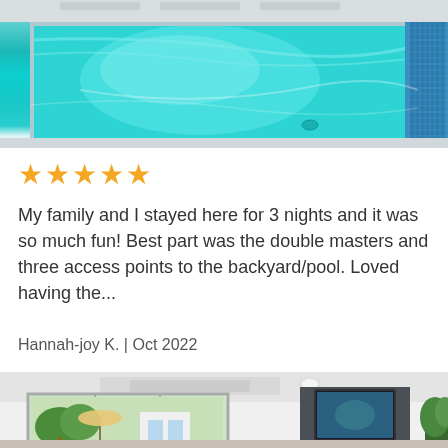[Figure (photo): Aerial/overhead view of a large rectangular swimming pool with bright turquoise water, white tile surrounds, and outdoor furniture visible at the top]
★★★★★
My family and I stayed here for 3 nights and it was so much fun! Best part was the double masters and three access points to the backyard/pool. Loved having the...
Hannah-joy K. | Oct 2022
[Figure (photo): Interior living room with white walls and ceiling, large sliding glass doors opening to a backyard with greenery, a wall-mounted TV on a dark tile accent wall, and a potted plant]